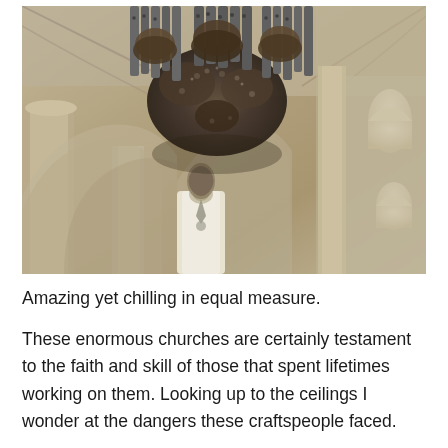[Figure (photo): Interior of a large Gothic cathedral showing ornate organ pipes mounted high on the wall/ceiling, with decorative elements including what appear to be large bird nests or stone carvings clustered around the pipe bases. Gothic arched windows are visible on the right side, and the stone architecture shows vaulted ceilings and pillars.]
Amazing yet chilling in equal measure.
These enormous churches are certainly testament to the faith and skill of those that spent lifetimes working on them. Looking up to the ceilings I wonder at the dangers these craftspeople faced.